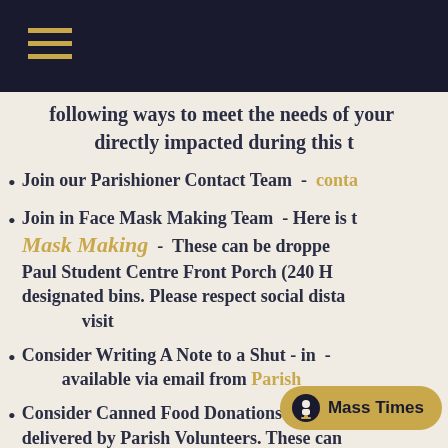Navigation menu bar with hamburger icon
following ways to meet the needs of your ... directly impacted during this t...
Join our Parishioner Contact Team  -  conta...
Join in Face Mask Making Team  - Here is t... Mask Making  -  These can be droppe... Paul Student Centre Front Porch (240 H... designated bins. Please respect social dista... visit
Consider Writing A Note to a Shut - in  -  available via email from Parish...
Consider Canned Food Donations for Eme... delivered by Parish Volunteers. These can... the St John Paul Student Centre Front Po... Street) in designated bins... during your visit